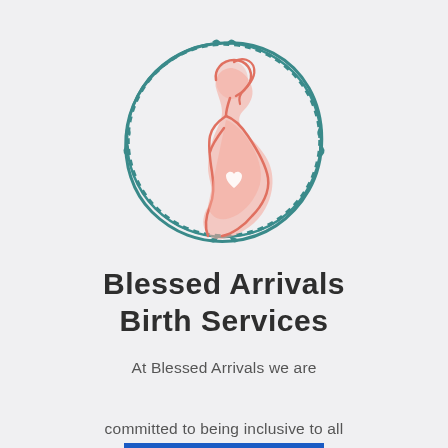[Figure (logo): Circular floral/vine wreath border in teal enclosing a line-art silhouette of a pregnant woman in profile, rendered in coral/salmon pink with a small white heart on the belly.]
Blessed Arrivals Birth Services
At Blessed Arrivals we are committed to being inclusive to all birthing families.